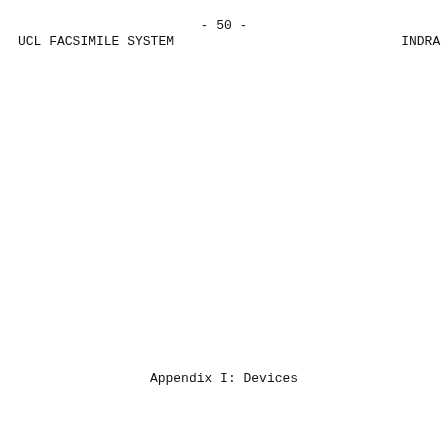- 50 -
UCL FACSIMILE SYSTEM
INDRA
Appendix I: Devices